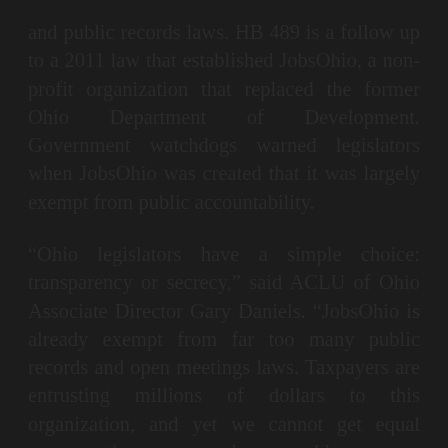and public records laws. HB 489 is a follow up to a 2011 law that established JobsOhio, a non-profit organization that replaced the former Ohio Department of Development. Government watchdogs warned legislators when JobsOhio was created that it was largely exempt from public accountability.
“Ohio legislators have a simple choice: transparency or secrecy,” said ACLU of Ohio Associate Director Gary Daniels. “JobsOhio is already exempt from far too many public records and open meetings laws. Taxpayers are entrusting millions of dollars to this organization, and yet we cannot get equal access to the same records we would expect